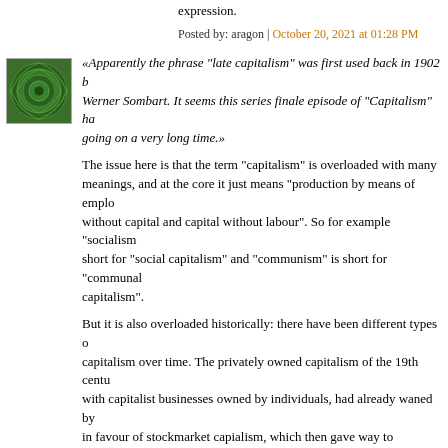expression.
Posted by: aragon | October 20, 2021 at 01:28 PM
[Figure (illustration): Green spiral avatar icon for user]
«Apparently the phrase “late capitalism” was first used back in 1902 by Werner Sombart. It seems this series finale episode of “Capitalism” has been going on a very long time.»
The issue here is that the term "capitalism" is overloaded with many meanings, and at the core it just means "production by means of employment without capital and capital without labour". So for example "socialism" is short for "social capitalism" and "communism" is short for "communal capitalism".
But it is also overloaded historically: there have been different types of capitalism over time. The privately owned capitalism of the 19th century, with capitalist businesses owned by individuals, had already waned by WWII in favour of stockmarket capialism, which then gave way to management/"organization man" capitalism, and then to financialized capitalism, and then to rentierist capitalism.
So for every phase the "late capitalism" would have been appropriate.
Posted by: Blissex | October 20, 2021 at 03:34 PM
[Figure (illustration): Small avatar icon for next commenter]